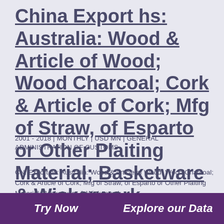China Export hs: Australia: Wood & Article of Wood; Wood Charcoal; Cork & Article of Cork; Mfg of Straw, of Esparto or Other Plaiting Material; Basketware & Wickerwork
2001 - 2018 | MONTHLY | USD MN | GENERAL ADMINISTRATION OF CUSTOMS
CN: Export hs: Australia: Wood & Article of Wood; Wood Charcoal; Cork & Article of Cork; Mfg of Straw, of Esparto or Other Plaiting Material; Basketware & Wickerwork
Try Now   Explore our Data